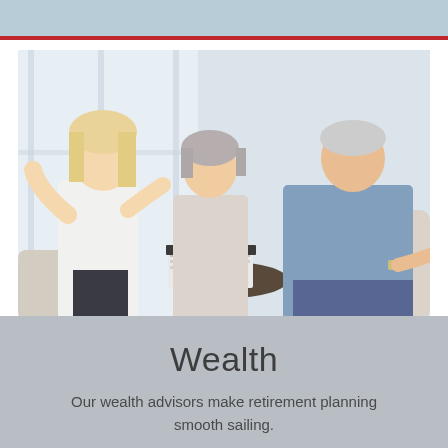[Figure (photo): A female financial advisor with blonde hair gestures while speaking to an older couple (a woman with short grey hair and a man in a blue shirt) seated around a small table with documents and binders in a bright, windowed room.]
Wealth
Our wealth advisors make retirement planning smooth sailing.